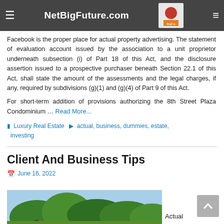NetBigFuture.com
Facebook is the proper place for actual property advertising. The statement of evaluation account issued by the association to a unit proprietor underneath subsection (i) of Part 18 of this Act, and the disclosure assertion issued to a prospective purchaser beneath Section 22.1 of this Act, shall state the amount of the assessments and the legal charges, if any, required by subdivisions (g)(1) and (g)(4) of Part 9 of this Act.
For short-term addition of provisions authorizing the 8th Street Plaza Condominium … Read More...
Luxury Real Estate   actual, business, dummies, estate, investing
Client And Business Tips
June 16, 2022
Actual